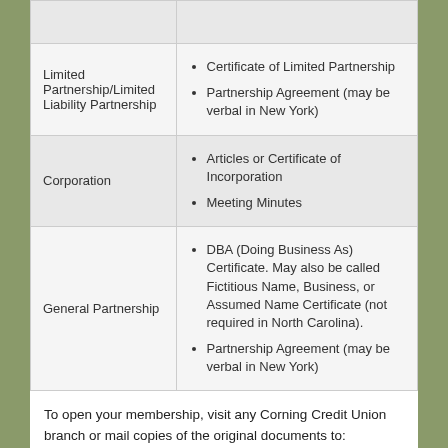| Entity Type | Required Documents |
| --- | --- |
|  |  |
| Limited Partnership/Limited Liability Partnership | Certificate of Limited Partnership
Partnership Agreement (may be verbal in New York) |
| Corporation | Articles or Certificate of Incorporation
Meeting Minutes |
| General Partnership | DBA (Doing Business As) Certificate. May also be called Fictitious Name, Business, or Assumed Name Certificate (not required in North Carolina).
Partnership Agreement (may be verbal in New York) |
To open your membership, visit any Corning Credit Union branch or mail copies of the original documents to:
Attn: Business Lending
Corning Federal Credit Union
One Credit Union Plaza
P.O. Box 1450
Corning, NY 14830